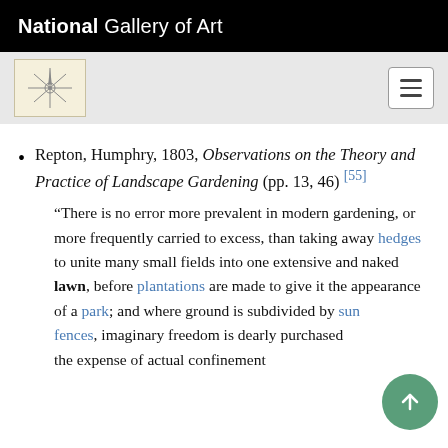National Gallery of Art
Repton, Humphry, 1803, Observations on the Theory and Practice of Landscape Gardening (pp. 13, 46) [55]
“There is no error more prevalent in modern gardening, or more frequently carried to excess, than taking away hedges to unite many small fields into one extensive and naked lawn, before plantations are made to give it the appearance of a park; and where ground is subdivided by sunken fences, imaginary freedom is dearly purchased at the expense of actual confinement